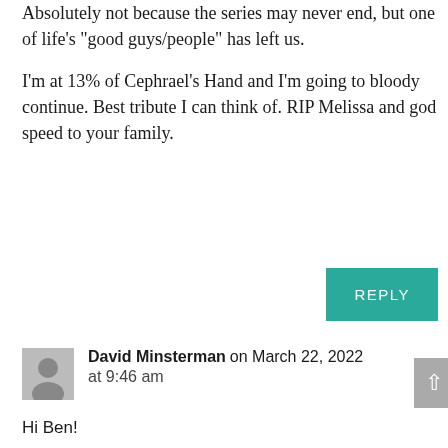Absolutely not because the series may never end, but one of life’s “good guys/people” has left us.

I’m at 13% of Cephrael’s Hand and I’m going to bloody continue. Best tribute I can think of. RIP Melissa and god speed to your family.
REPLY
David Minsterman on March 22, 2022 at 9:46 am
Hi Ben!
If this is your first time through the series....I want to assure you that every last page is a work of art. You